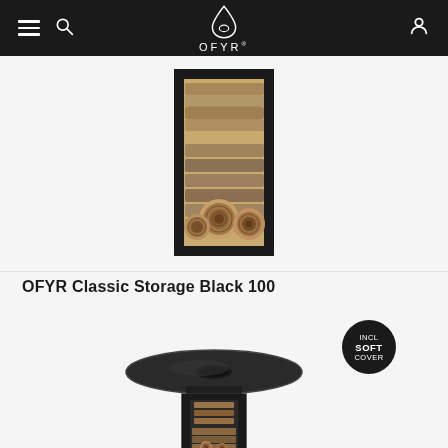OFYR (navigation header with hamburger menu, search, logo, and user account icon)
[Figure (photo): Black rectangular wood storage unit filled with stacked firewood logs, shown on a light grey background. The unit is a tall box with an open front frame revealing neatly stacked logs.]
OFYR Classic Storage Black 100
[Figure (photo): OFYR Classic Storage Black 100 fire pit with a large circular disc-shaped cooking surface on top of a black square pedestal/storage unit with firewood inside. A circular badge reads INCL SOFT COVER.]